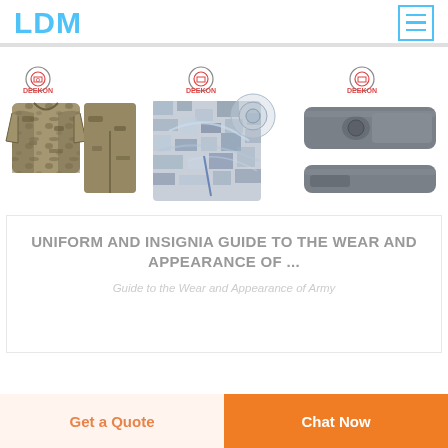LDM
[Figure (photo): Three product images with Deekon branding: military camouflage uniform set (jacket and pants), camouflage fabric material with circular logo detail, and grey tactical accessories/pouches]
UNIFORM AND INSIGNIA GUIDE TO THE WEAR AND APPEARANCE OF ...
Guide to the Wear and Appearance of Army
Get a Quote
Chat Now